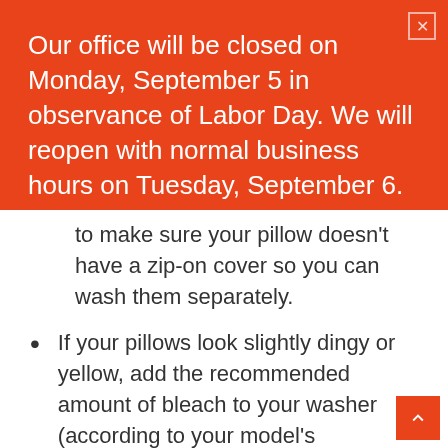Our office will be closed on Monday, September 5 in observance of Labor Day. We will reopen with normal business hours on Tuesday, September 6.
to make sure your pillow doesn't have a zip-on cover so you can wash them separately.
If your pillows look slightly dingy or yellow, add the recommended amount of bleach to your washer (according to your model's instructions) to help whiten them up.
Take a quick look at your items to make